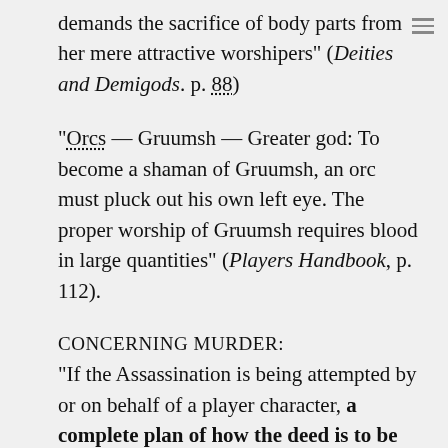demands the sacrifice of body parts from her mere attractive worshipers" (Deities and Demigods. p. 88)
"Orcs — Gruumsh — Greater god: To become a shaman of Gruumsh, an orc must pluck out his own left eye. The proper worship of Gruumsh requires blood in large quantities" (Players Handbook, p. 112).
CONCERNING MURDER:
"If the Assassination is being attempted by or on behalf of a player character, a complete plan of how the deed is to be done should be prepared by the player involved, and the precautions, if any, of the target character should be compared against the plan. Weapon damage always occurs and may